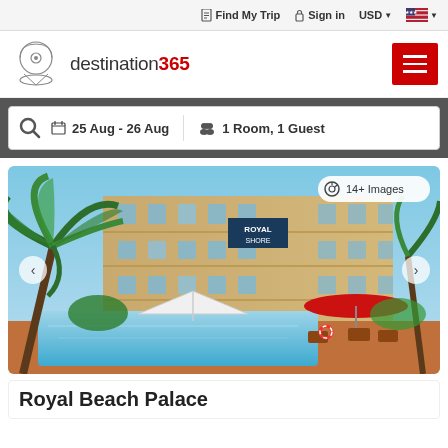Find My Trip  Sign in  USD  [US Flag]
[Figure (logo): destination365 logo with map pin icon]
25 Aug - 26 Aug   1 Room, 1 Guest
[Figure (photo): Hotel exterior photo showing pool area with palm trees, multi-story building, red umbrella, and white tent. Badge reads: 14+ Images]
Royal Beach Palace